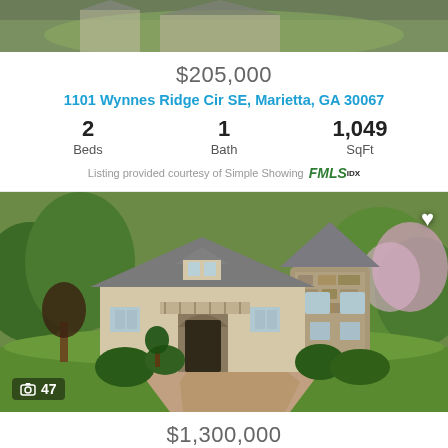[Figure (photo): Top portion of a house photo, partially visible at top of page]
$205,000
1101 Wynnes Ridge Cir SE, Marietta, GA 30067
2 Beds  1 Bath  1,049 SqFt
Listing provided courtesy of Simple Showing FMLS IDX
[Figure (photo): Large two-story stone and stucco house with multiple roof peaks, surrounded by green trees and landscaping, with a circular brick driveway. Camera icon with count 47 in lower left, heart icon in upper right.]
$1,300,000
1234 Wynnesford Place Cir SE, Marietta, GA 30067